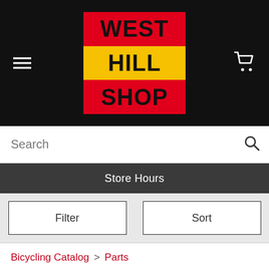[Figure (logo): West Hill Shop logo: red-yellow-red striped square with bold black text reading WEST HILL SHOP]
Search
Store Hours
Filter
Sort
Bicycling Catalog > Parts
BMX